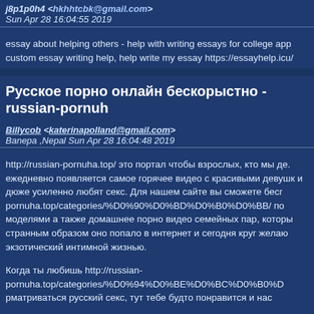j8p1p0h4 <hkhhtcbk@gmail.com> Sun Apr 28 16:04:55 2019
essay about helping others - help with writing essays for college app custom essay writing help, help write my essay https://essayhelp.icu/
Русское порно онлайн бескорыстно - russian-pornuh
Billycob <katerinapolland@gmail.com> Banepa ,Nepal Sun Apr 28 16:04:48 2019
http://russian-pornuha.top/ это портал чтобы взрослых, кто мы де. ежедневно появляется самое горячее видео с красивыми девушк и дюже усиленно любят секс. Для нашем сайте вы сможете беcг pornuha.top/categories/%D0%90%D0%BD%D0%B0%D0%BB/ по моделями а также домашнее порно видео семейных пар, которы странным образом оно попало в интернет и сегодня круг желаю экзотический интимной жизнью.
Когда ты любишь http://russian-pornuha.top/categories/%D0%94%D0%BE%D0%BC%D0%B0%D рматриваться русский секс, тут тебе будто понравится и нас